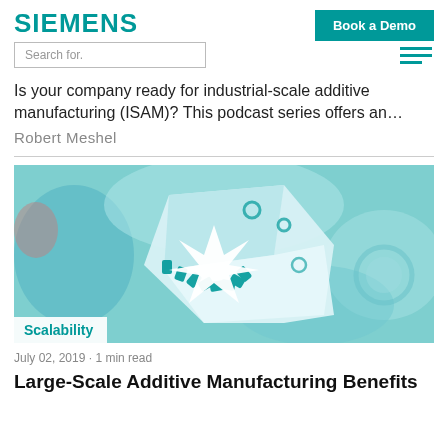SIEMENS
Search for.
Book a Demo
Is your company ready for industrial-scale additive manufacturing (ISAM)? This podcast series offers an…
Robert Meshel
[Figure (photo): Photo of teal/cyan colored 3D printed gear and cube-shaped mechanical parts on a blurred blue background, with a 'Scalability' badge overlay in the bottom-left corner.]
July 02, 2019 · 1 min read
Large-Scale Additive Manufacturing Benefits